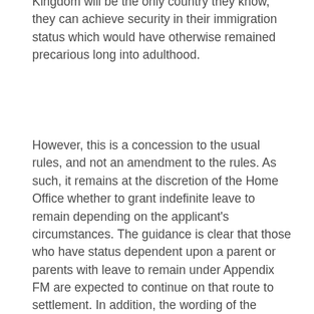Kingdom will be the only country they know, they can achieve security in their immigration status which would have otherwise remained precarious long into adulthood.
However, this is a concession to the usual rules, and not an amendment to the rules. As such, it remains at the discretion of the Home Office whether to grant indefinite leave to remain depending on the applicant's circumstances. The guidance is clear that those who have status dependent upon a parent or parents with leave to remain under Appendix FM are expected to continue on that route to settlement. In addition, the wording of the guidance is not totally clear and, as it is brand new, it can be tricky to predict how the Home Office will treat borderline cases. The concession does not appear to include those young adults on the private life route, granted